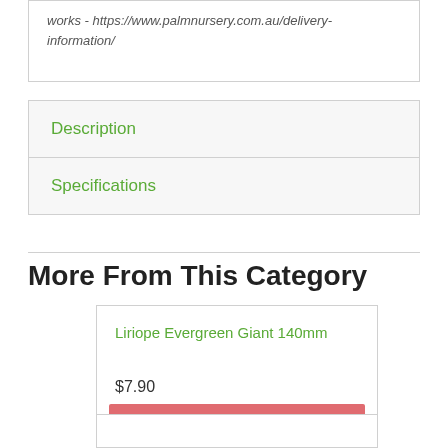works - https://www.palmnursery.com.au/delivery-information/
Description
Specifications
More From This Category
Liriope Evergreen Giant 140mm
$7.90
Add to Cart